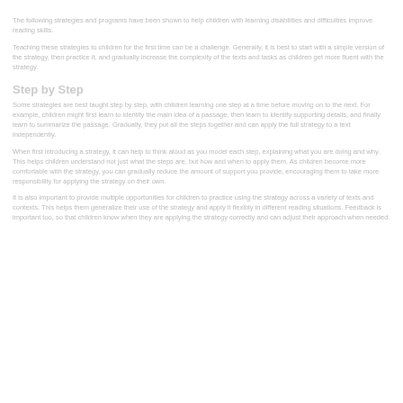The following strategies and programs have been shown to help children with learning disabilities and difficulties improve reading skills.
Teaching these strategies to children for the first time can be a challenge. Generally, it is best to start with a simple version of the strategy, then practice it, and gradually increase the complexity of the texts and tasks as children get more fluent with the strategy.
Step by Step
Some strategies are best taught step by step, with children learning one step at a time before moving on to the next. For example, children might first learn to identify the main idea of a passage, then learn to identify supporting details, and finally learn to summarize the passage. Gradually, they put all the steps together and can apply the full strategy to a text independently.
When first introducing a strategy, it can help to think aloud as you model each step, explaining what you are doing and why. This helps children understand not just what the steps are, but how and when to apply them. As children become more comfortable with the strategy, you can gradually reduce the amount of support you provide, encouraging them to take more responsibility for applying the strategy on their own.
It is also important to provide multiple opportunities for children to practice using the strategy across a variety of texts and contexts. This helps them generalize their use of the strategy and apply it flexibly in different reading situations. Feedback is important too, so that children know when they are applying the strategy correctly and can adjust their approach when needed.